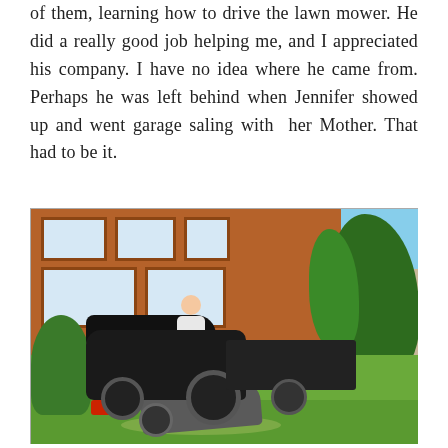of them, learning how to drive the lawn mower. He did a really good job helping me, and I appreciated his company. I have no idea where he came from. Perhaps he was left behind when Jennifer showed up and went garage saling with  her Mother. That had to be it.
[Figure (photo): A young person sitting on a black ride-on lawn mower in a garden, with a trailer attached. Behind them is a red brick house with white-framed windows. Greenery, bushes and trees surround the house. A wheelbarrow and grass clippings are visible in the foreground.]